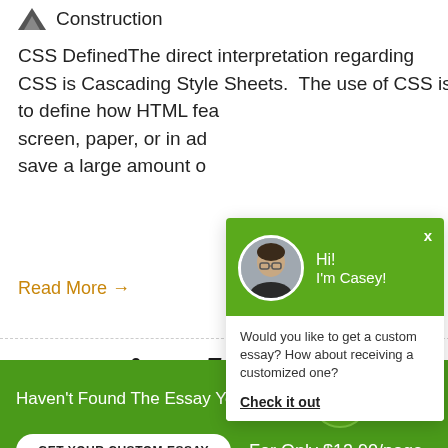Construction
CSS DefinedThe direct interpretation regarding CSS is Cascading Style Sheets. The use of CSS is to define how HTML features are displayed on a screen, paper, or in additional media. CSS can save a large amount of
Read More →
Inspired sonnet is a
[Figure (screenshot): Chat popup overlay with green header showing avatar of a man with glasses, text 'Hi! I'm Casey!', and body text 'Would you like to get a custom essay? How about receiving a customized one?' with 'Check it out' link]
Haven't Found The Essay You Want? GET YOUR CUSTOM ESSAY For Only $13.90/page